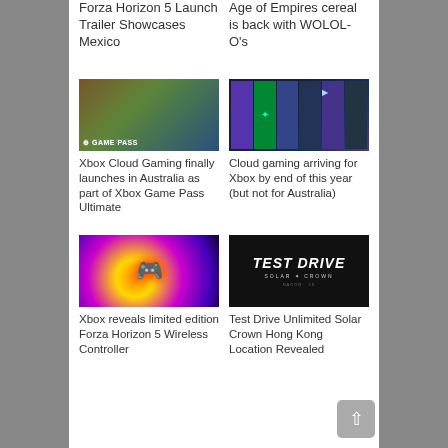Forza Horizon 5 Launch Trailer Showcases Mexico
Age of Empires cereal is back with WOLOL-O’s
[Figure (photo): Xbox Game Pass promotional image showing people using tablets and controllers with GAME PASS overlay text]
[Figure (screenshot): Xbox cloud gaming interface showing various game thumbnails in a dark UI]
Xbox Cloud Gaming finally launches in Australia as part of Xbox Game Pass Ultimate
Cloud gaming arriving for Xbox by end of this year (but not for Australia)
[Figure (photo): Limited edition Forza Horizon 5 Xbox wireless controller in gold/rainbow colors with purple glowing background]
[Figure (photo): Test Drive Unlimited Solar Crown game logo on dark background with publisher logos at bottom]
Xbox reveals limited edition Forza Horizon 5 Wireless Controller
Test Drive Unlimited Solar Crown Hong Kong Location Revealed